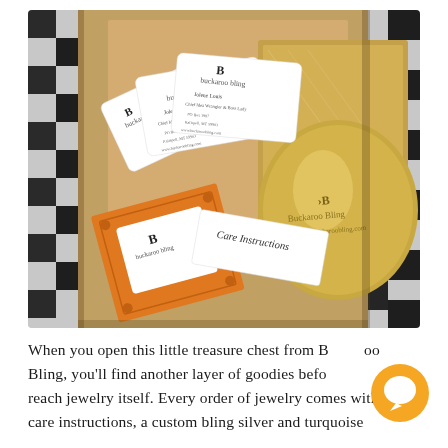[Figure (photo): Open cardboard box on a black and white checkered fabric background, containing Buckaroo Bling business cards, an orange decorative card, a Care Instructions card, and a gold satin pouch with the Buckaroo Bling logo.]
When you open this little treasure chest from Buckaroo Bling, you'll find another layer of goodies before you reach jewelry itself. Every order of jewelry comes with care instructions, a custom bling silver and turquoise